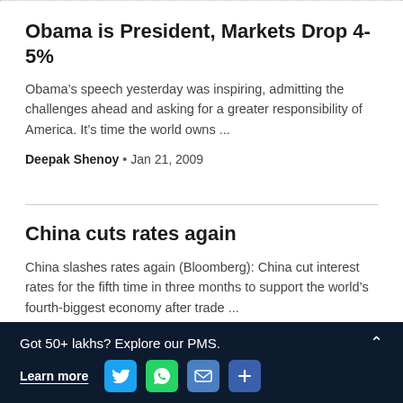Obama is President, Markets Drop 4-5%
Obama’s speech yesterday was inspiring, admitting the challenges ahead and asking for a greater responsibility of America. It’s time the world owns ...
Deepak Shenoy • Jan 21, 2009
China cuts rates again
China slashes rates again (Bloomberg): China cut interest rates for the fifth time in three months to support the world’s fourth-biggest economy after trade ...
Deepak Shenoy • Dec 22, 2008
Got 50+ lakhs? Explore our PMS. Learn more